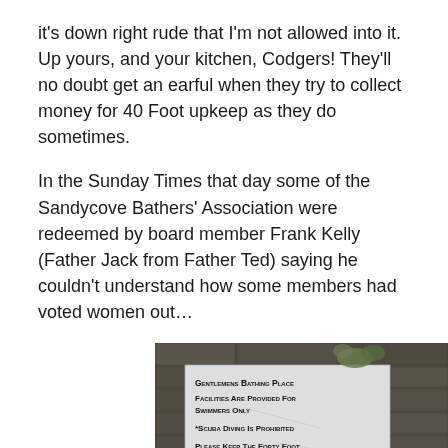it's down right rude that I'm not allowed into it.  Up yours, and your kitchen, Codgers! They'll no doubt get an earful when they try to collect money for 40 Foot upkeep as they do sometimes.
In the Sunday Times that day some of the Sandycove Bathers' Association were redeemed by board member Frank Kelly (Father Jack from Father Ted) saying he couldn't understand how some members had voted women out…
[Figure (photo): Photo of a sign on a stone wall reading: GENTLEMENS BATHING PLACE / FACILITIES ARE PROVIDED FOR SWIMMERS ONLY / *SCUBA DIVING IS PROHIBITED / PLEASE KEEP THE FORTY FOOT ENVIRONMENTALLY FRIENDLY / GRAFFITI ARE FORBIDDEN]